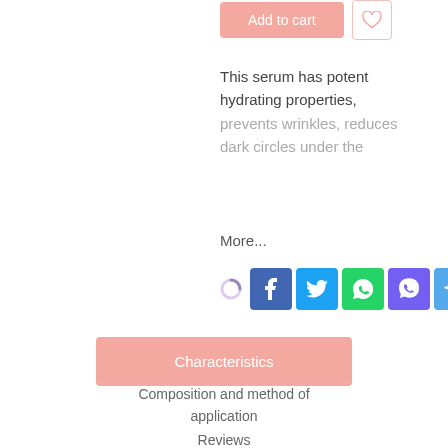[Figure (screenshot): Add to cart button (pink/salmon) and wishlist heart button (outlined)]
This serum has potent hydrating properties, prevents wrinkles, reduces dark circles under the
More...
[Figure (infographic): Social sharing icons: Facebook, Twitter, WhatsApp, Viber, Telegram]
Characteristics
Composition and method of application
Reviews